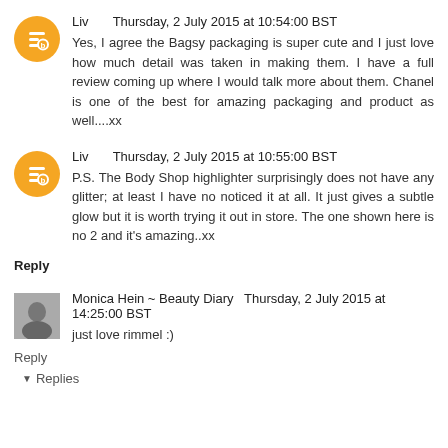Liv   Thursday, 2 July 2015 at 10:54:00 BST
Yes, I agree the Bagsy packaging is super cute and I just love how much detail was taken in making them. I have a full review coming up where I would talk more about them. Chanel is one of the best for amazing packaging and product as well....xx
Liv   Thursday, 2 July 2015 at 10:55:00 BST
P.S. The Body Shop highlighter surprisingly does not have any glitter; at least I have no noticed it at all. It just gives a subtle glow but it is worth trying it out in store. The one shown here is no 2 and it's amazing..xx
Reply
Monica Hein ~ Beauty Diary   Thursday, 2 July 2015 at 14:25:00 BST
just love rimmel :)
Reply
▾ Replies